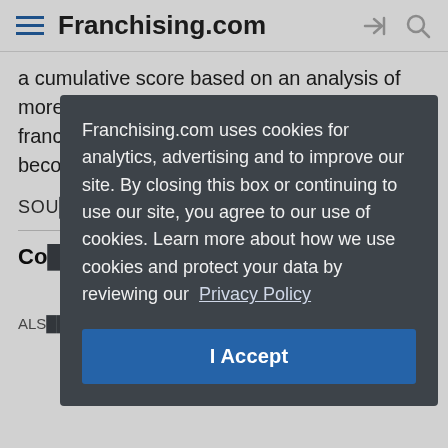Franchising.com
a cumulative score based on an analysis of more than 150 data points, and the 500 franchises with the highest cumulative scores become the Franchise 500® in ranking order.
SOU
Co
ALS
Franchising.com uses cookies for analytics, advertising and to improve our site. By closing this box or continuing to use our site, you agree to our use of cookies. Learn more about how we use cookies and protect your data by reviewing our Privacy Policy
I Accept